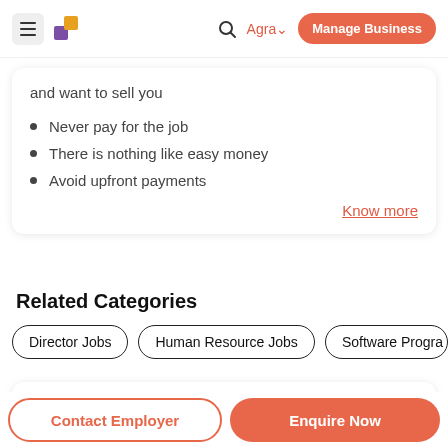Agra | Manage Business
and want to sell you
Never pay for the job
There is nothing like easy money
Avoid upfront payments
Know more
Related Categories
Director Jobs | Human Resource Jobs | Software Progra...
Send me latest jobs by email
Contact Employer | Enquire Now